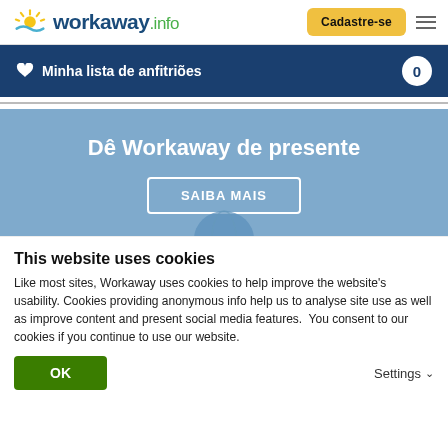[Figure (logo): workaway.info logo with sun icon]
Cadastre-se
♥ Minha lista de anfitriões  0
Dê Workaway de presente
SAIBA MAIS
This website uses cookies
Like most sites, Workaway uses cookies to help improve the website's usability. Cookies providing anonymous info help us to analyse site use as well as improve content and present social media features.  You consent to our cookies if you continue to use our website.
OK
Settings